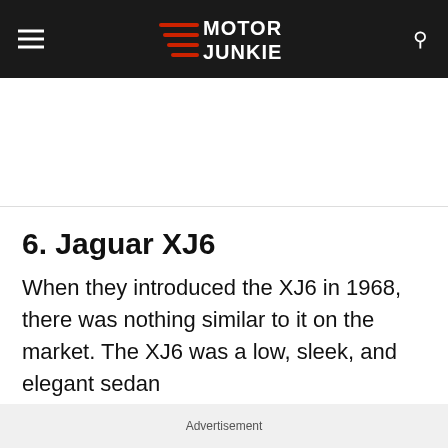Motor Junkie
6. Jaguar XJ6
When they introduced the XJ6 in 1968, there was nothing similar to it on the market. The XJ6 was a low, sleek, and elegant sedan
Advertisement